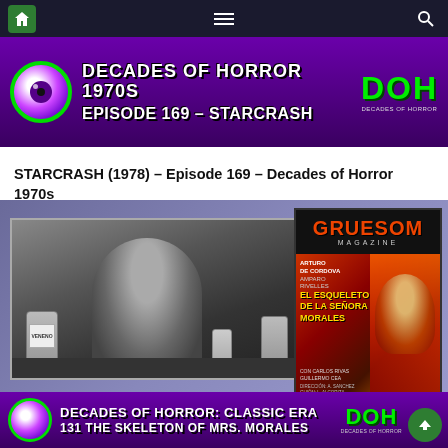[Figure (screenshot): Navigation bar with home icon, hamburger menu, and search icon on dark background]
[Figure (illustration): Decades of Horror 1970s banner with purple background, eyeball logo, Episode 169 - Starcrash text, and DOH logo]
STARCRASH (1978) – Episode 169 – Decades of Horror 1970s
[Figure (screenshot): Composite image: black and white film still of a man at a table with bottles labeled VENENO, overlaid with a Gruesom Magazine cover featuring El Esqueleto de la Señora Morales, and at the bottom a Decades of Horror Classic Era banner for Episode 131 The Skeleton of Mrs. Morales]